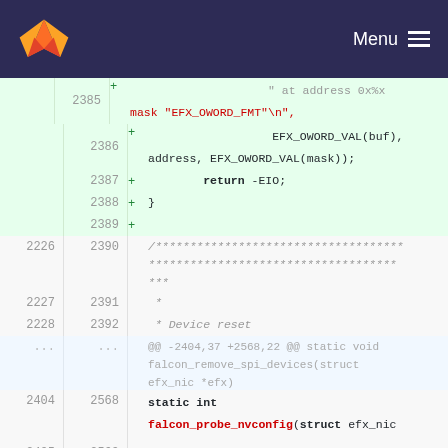GitLab navigation bar with logo and Menu
[Figure (screenshot): Code diff view showing lines 2385-2405 (old) and 2385-2569 (new) of a C source file. Added lines show EFX_OWORD_FMT, EFX_OWORD_VAL, return -EIO, closing brace. Context lines show a comment block about Device reset and a hunk header. Bottom shows static int falcon_probe_nvconfig(struct efx_nic *efx) and opening brace.]